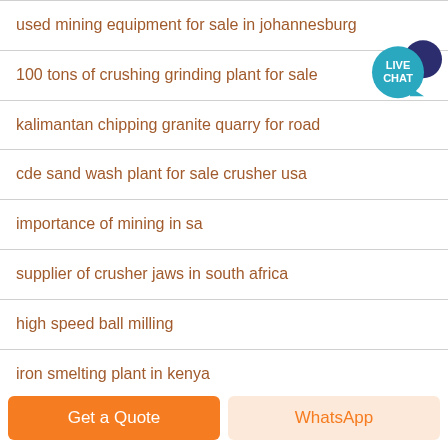used mining equipment for sale in johannesburg
100 tons of crushing grinding plant for sale
kalimantan chipping granite quarry for road
cde sand wash plant for sale crusher usa
importance of mining in sa
supplier of crusher jaws in south africa
high speed ball milling
iron smelting plant in kenya
[Figure (illustration): Live Chat button badge - teal circular bubble with LIVE CHAT text and dark blue speech bubble icon]
Get a Quote
WhatsApp